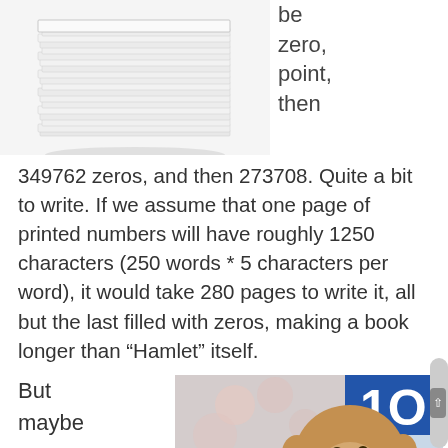[Figure (photo): Stack of printed papers/documents piled high, white background]
be zero, point, then
349762 zeros, and then 273708. Quite a bit to write. If we assume that one page of printed numbers will have roughly 1250 characters (250 words * 5 characters per word), it would take 280 pages to write it, all but the last filled with zeros, making a book longer than “Hamlet” itself.
But maybe we can get a clean copy faster with a
[Figure (photo): A monkey (macaque) on a chain drinking from a Coca-Cola bottle]